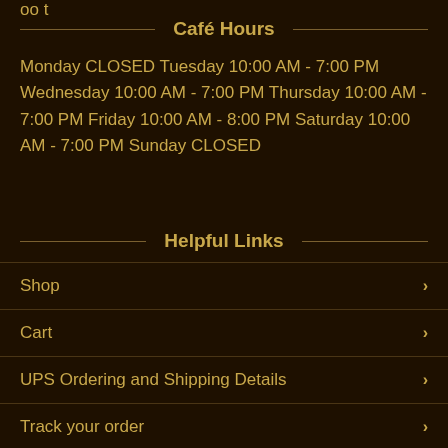Café Hours
Monday CLOSED Tuesday 10:00 AM - 7:00 PM Wednesday 10:00 AM - 7:00 PM Thursday 10:00 AM - 7:00 PM Friday 10:00 AM - 8:00 PM Saturday 10:00 AM - 7:00 PM Sunday CLOSED
Helpful Links
Shop
Cart
UPS Ordering and Shipping Details
Track your order
Contact